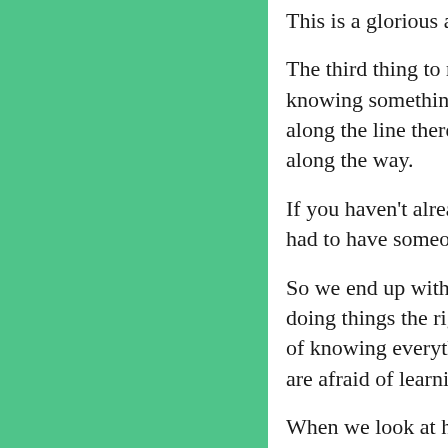This is a glorious adventure in which we explore...
The third thing to remember is that we aren't really expected to know everything. We're often criticized as kids for not knowing something, but that's the first time we've encountered that problem. We grew up with a sense that somewhere along the line there is a book somewhere that tells us everything we're supposed to know, and we missed the manual along the way.
If you haven't already sorted it out, there never was a manual. In fact, those who criticize us for not knowing something had to have someone else show them or they figured it out at some point.
So we end up with the idea that somehow we are supposed to know how to do things, and to do them correctly. Not doing things the right way means that we are defective in some way. This is clearly a form of insanity. We're not capable of knowing everything and the way we learn is to make "mistakes." Being afraid of making "mistakes" means that we are afraid of learning.
When we look at how criticism works, we can see that it's designed to make us feel bad about ourselves. This is the essence of criticism. So neutralizing the fear of criticism is two-fold. One, is learning how to defuse the effects of criticism. And two, is learning how we can get out of hell easily any time we need to.